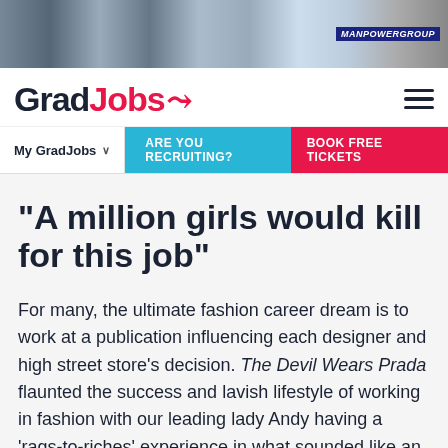[Figure (photo): Banner advertisement image strip showing people in various settings with a blue badge/logo in top right corner reading 'MANPOWERGROUP']
GradJobs
My GradJobs  ARE YOU RECRUITING?  BOOK FREE TICKETS
“A million girls would kill for this job”
For many, the ultimate fashion career dream is to work at a publication influencing each designer and high street store’s decision. The Devil Wears Prada flaunted the success and lavish lifestyle of working in fashion with our leading lady Andy having a ‘rags-to-riches’ experience in what sounded like an amazing job. However, this was